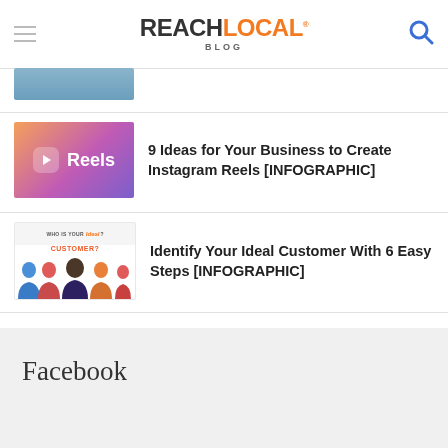REACHLOCAL BLOG
[Figure (photo): Partial article thumbnail at top, cropped]
[Figure (screenshot): Instagram Reels branded thumbnail with purple/orange gradient and Reels icon]
9 Ideas for Your Business to Create Instagram Reels [INFOGRAPHIC]
[Figure (illustration): Who is your ideal customer infographic thumbnail with illustrated diverse people]
Identify Your Ideal Customer With 6 Easy Steps [INFOGRAPHIC]
Facebook